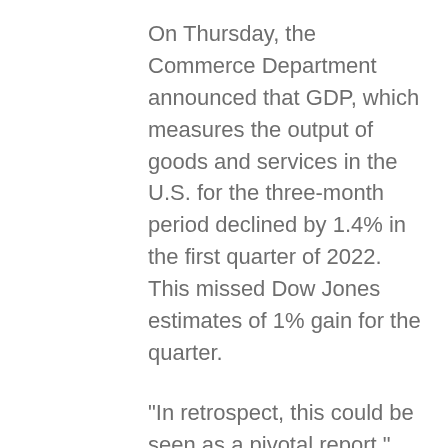On Thursday, the Commerce Department announced that GDP, which measures the output of goods and services in the U.S. for the three-month period declined by 1.4% in the first quarter of 2022. This missed Dow Jones estimates of 1% gain for the quarter.
"In retrospect, this could be seen as a pivotal report," said chief economist at State Street Global Advisors, Simona Mocuta. "It reminds us of the reality that growth has been great,